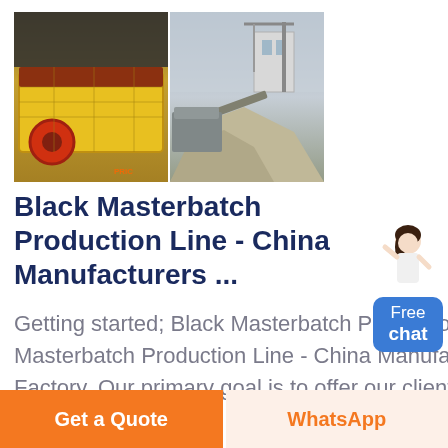[Figure (photo): Two industrial machinery images side by side: left shows a yellow vibrating screen/sieve machine with red circular component; right shows a quarry or mining site with crane and aggregate piles.]
Black Masterbatch Production Line - China Manufacturers ...
Getting started; Black Masterbatch Production Line; Black Masterbatch Production Line - China Manufacturers, Suppliers, Factory. Our primary goal is to offer our clients a serious and responsible business relationship, providing
[Figure (other): Free chat widget with female avatar and blue button labeled 'Free chat']
Get a Quote
WhatsApp